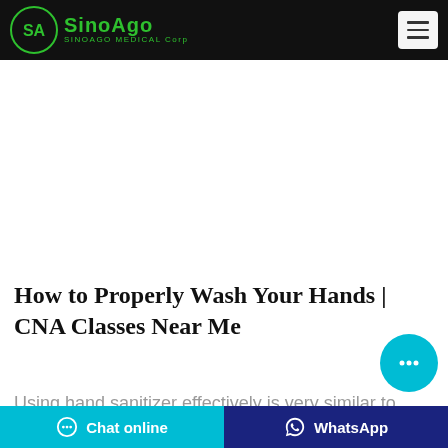SINOAGO MEDICAL Corp
[Figure (photo): Industrial bottling/filling machine with workers in lab coats handling small bottles on a production line]
How to Properly Wash Your Hands | CNA Classes Near Me
Using hand sanitizer effectively is very similar to some of the steps for proper hand washing. These are the correct